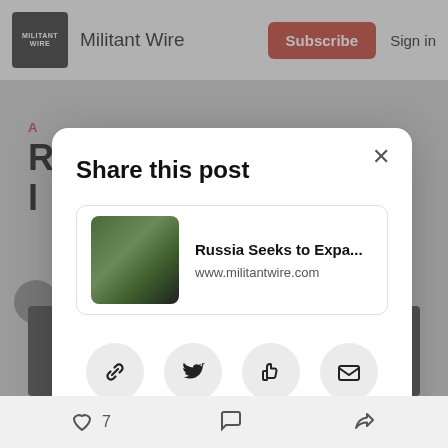Militant Wire — Subscribe  Sign in
[Figure (screenshot): Share this post modal dialog on Militant Wire website. Shows article card with title 'Russia Seeks to Expa...' and URL www.militantwire.com, with sharing options: Copy link, Twitter, Facebook, Email.]
7  (comment icon)  (share icon)